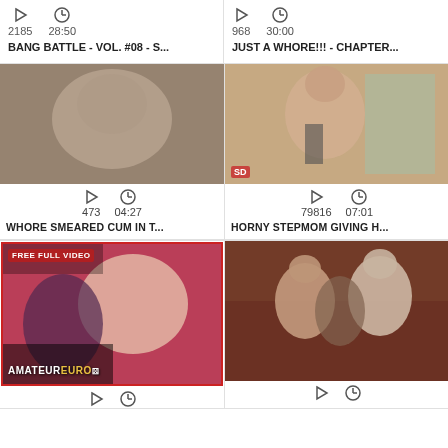2185  28:50  BANG BATTLE - VOL. #08 - S...
968  30:00  JUST A WHORE!!! - CHAPTER...
[Figure (photo): Video thumbnail - close-up scene]
[Figure (photo): Video thumbnail - woman on phone, SD badge]
473  04:27  WHORE SMEARED CUM IN T...
79816  07:01  HORNY STEPMOM GIVING H...
[Figure (photo): Video thumbnail with FREE FULL VIDEO badge and AMATEUREURO watermark, red border]
[Figure (photo): Video thumbnail - group scene, dark warm tones]